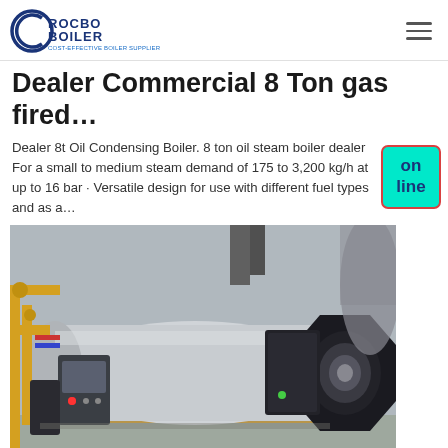ROCBO BOILER — COST-EFFECTIVE BOILER SUPPLIER
Dealer Commercial 8 Ton gas fired…
Dealer 8t Oil Condensing Boiler. 8 ton oil steam boiler dealer For a small to medium steam demand of 175 to 3,200 kg/h at up to 16 bar · Versatile design for use with different fuel types and as a…
[Figure (photo): Industrial gas-fired boiler equipment installed in a facility, showing a large horizontal cylindrical boiler vessel with a black burner assembly on the right side, control panel on the left, and yellow pipe fittings visible in the background]
Factory Price 6t High Efficiency Boile…